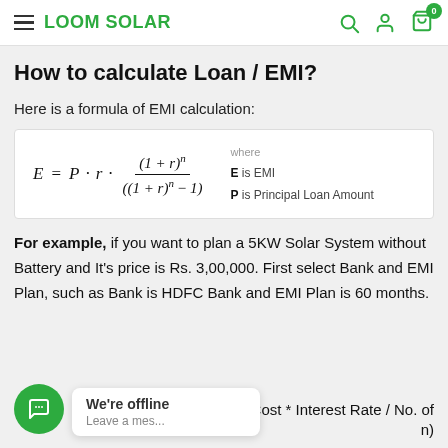LOOM SOLAR
How to calculate Loan / EMI?
Here is a formula of EMI calculation:
For example, if you want to plan a 5KW Solar System without Battery and It's price is Rs. 3,00,000. First select Bank and EMI Plan, such as Bank is HDFC Bank and EMI Plan is 60 months.
Total Cost * Interest Rate / No. of ...